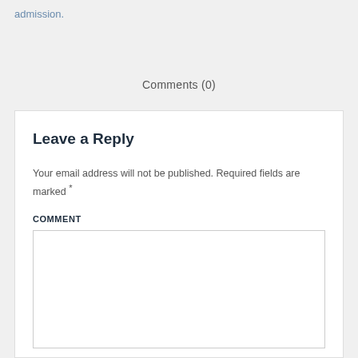admission.
Comments (0)
Leave a Reply
Your email address will not be published. Required fields are marked *
COMMENT